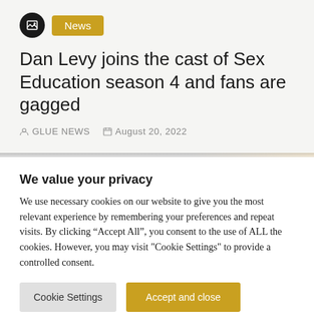[Figure (logo): Black circular icon with image placeholder symbol]
News
Dan Levy joins the cast of Sex Education season 4 and fans are gagged
GLUE NEWS   August 20, 2022
We value your privacy
We use necessary cookies on our website to give you the most relevant experience by remembering your preferences and repeat visits. By clicking “Accept All”, you consent to the use of ALL the cookies. However, you may visit "Cookie Settings" to provide a controlled consent.
Cookie Settings   Accept and close